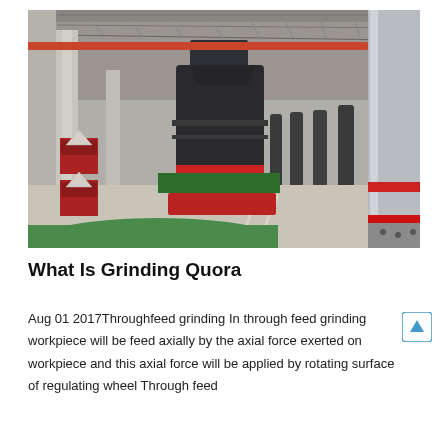[Figure (photo): Industrial factory floor showing large grinding/milling machines. A large dark vertical grinding mill is in the center foreground with a red stripe, green base platform. Multiple similar machines line the background. A large silver/chrome cylindrical grinding wheel is visible on the right side. The facility has a steel truss roof structure and concrete floors.]
What Is Grinding Quora
Aug 01 2017Throughfeed grinding In through feed grinding workpiece will be feed axially by the axial force exerted on workpiece and this axial force will be applied by rotating surface of regulating wheel Through feed